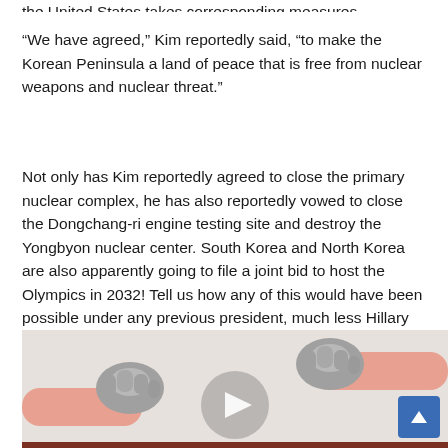the United States takes corresponding measures.
“We have agreed,” Kim reportedly said, “to make the Korean Peninsula a land of peace that is free from nuclear weapons and nuclear threat.”
Not only has Kim reportedly agreed to close the primary nuclear complex, he has also reportedly vowed to close the Dongchang-ri engine testing site and destroy the Yongbyon nuclear center. South Korea and North Korea are also apparently going to file a joint bid to host the Olympics in 2032! Tell us how any of this would have been possible under any previous president, much less Hillary Clinton.
[Figure (illustration): Cartoon illustration showing two arms with grey gloves appearing to handshake or interact, with a large grey play button circle in the center, on a light beige/grey background. A blue scroll-to-top button with an upward arrow is in the bottom right corner.]